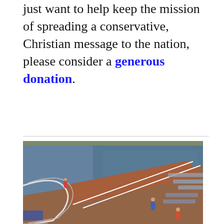just want to help keep the mission of spreading a conservative, Christian message to the nation, please consider a generous donation.
[Figure (photo): Aerial view of a cruise ship deck showing a running track curving around the deck, with lounge chairs visible and ocean in the background. Several people are visible on the track.]
Actual Pictures From Cruise Ships That Will Make You Think Twice Before Booking A Trip
104,100